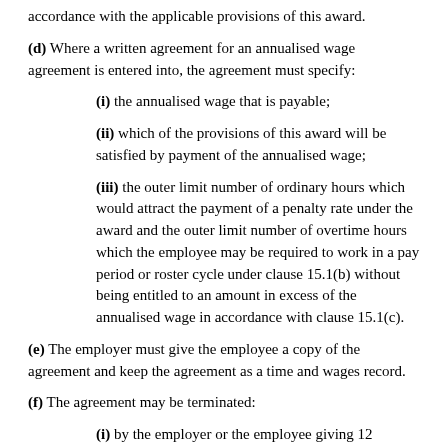accordance with the applicable provisions of this award.
(d) Where a written agreement for an annualised wage agreement is entered into, the agreement must specify:
(i) the annualised wage that is payable;
(ii) which of the provisions of this award will be satisfied by payment of the annualised wage;
(iii) the outer limit number of ordinary hours which would attract the payment of a penalty rate under the award and the outer limit number of overtime hours which the employee may be required to work in a pay period or roster cycle under clause 15.1(b) without being entitled to an amount in excess of the annualised wage in accordance with clause 15.1(c).
(e) The employer must give the employee a copy of the agreement and keep the agreement as a time and wages record.
(f) The agreement may be terminated:
(i) by the employer or the employee giving 12 months' notice of termination, in writing, to the other party and the agreement ceasing to operate at the end of the notice period; or